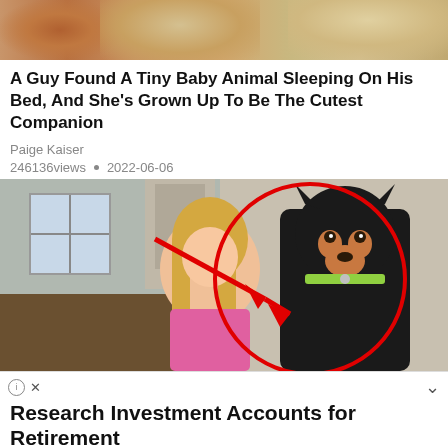[Figure (photo): Top portion of an animal photo, showing furry animals (appears to be cats or similar), cropped at top of page]
A Guy Found A Tiny Baby Animal Sleeping On His Bed, And She's Grown Up To Be The Cutest Companion
Paige Kaiser
246136views • 2022-06-06
[Figure (photo): Photo of a young blonde girl in a pink outfit sitting next to a large Doberman dog. A red circle and red arrow annotation overlay the image, pointing to something in the scene. The background shows a room with hardwood floors and a window.]
Research Investment Accounts for Retirement
Yahoo Search has the top results for "investment accounts retirement." See the options now!
continue